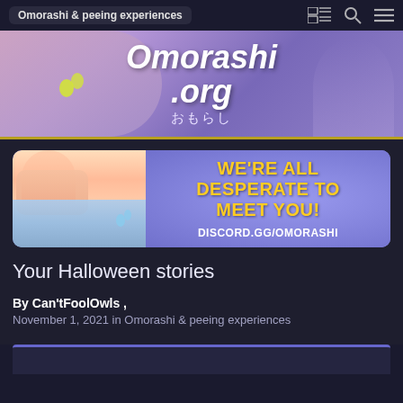Omorashi & peeing experiences
[Figure (illustration): Omorashi.org website banner with anime-style characters on a purple/pink gradient background. Text reads 'Omorashi.org おもらし' with decorative water droplets.]
[Figure (illustration): Discord advertisement banner with purple background showing anime character illustration on left side and text 'WE'RE ALL DESPERATE TO MEET YOU!' in yellow/orange with 'DISCORD.GG/OMORASHI' below in white.]
Your Halloween stories
By Can'tFoolOwls ,
November 1, 2021 in Omorashi & peeing experiences